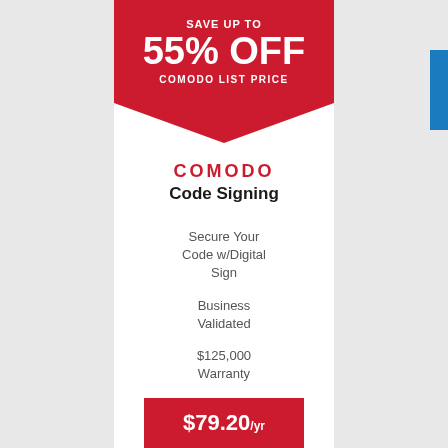SAVE UP TO
55% OFF
COMODO LIST PRICE
COMODO
Code Signing
Secure Your Code w/Digital Sign
Business Validated
$125,000 Warranty
$79.20/yr